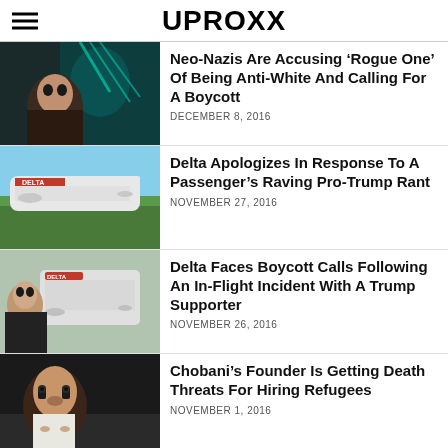UPROXX
Neo-Nazis Are Accusing ‘Rogue One’ Of Being Anti-White And Calling For A Boycott
DECEMBER 8, 2016
Delta Apologizes In Response To A Passenger’s Raving Pro-Trump Rant
NOVEMBER 27, 2016
Delta Faces Boycott Calls Following An In-Flight Incident With A Trump Supporter
NOVEMBER 26, 2016
Chobani’s Founder Is Getting Death Threats For Hiring Refugees
NOVEMBER 1, 2016
Sharon Tate joins call for...